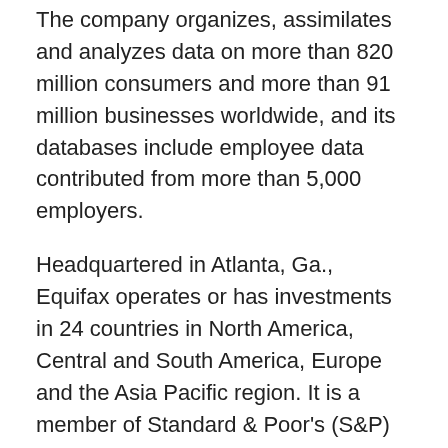The company organizes, assimilates and analyzes data on more than 820 million consumers and more than 91 million businesses worldwide, and its databases include employee data contributed from more than 5,000 employers.
Headquartered in Atlanta, Ga., Equifax operates or has investments in 24 countries in North America, Central and South America, Europe and the Asia Pacific region. It is a member of Standard & Poor's (S&P) 500® Index, and its common stock is traded on the New York Stock Exchange (NYSE) under the symbol EFX. Equifax employs approximately 9,200 employees worldwide.